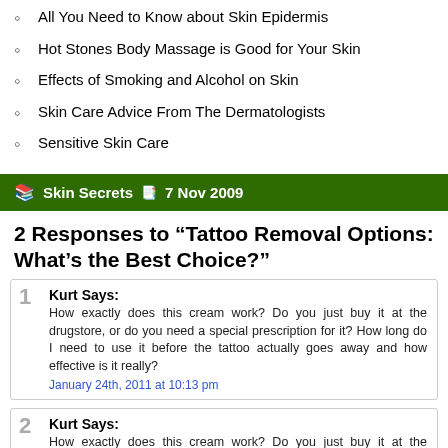All You Need to Know about Skin Epidermis
Hot Stones Body Massage is Good for Your Skin
Effects of Smoking and Alcohol on Skin
Skin Care Advice From The Dermatologists
Sensitive Skin Care
Skin Secrets   7 Nov 2009
2 Responses to “Tattoo Removal Options: What’s the Best Choice?”
1 Kurt Says:
How exactly does this cream work? Do you just buy it at the drugstore, or do you need a special prescription for it? How long do I need to use it before the tattoo actually goes away and how effective is it really?
January 24th, 2011 at 10:13 pm
2 Kurt Says:
How exactly does this cream work? Do you just buy it at the drugstore, or do you need a special prescription for it? How long do I need to use it before the tattoo actually goes away and how effective is it really?
January 24th, 2011 at 5:13 pm